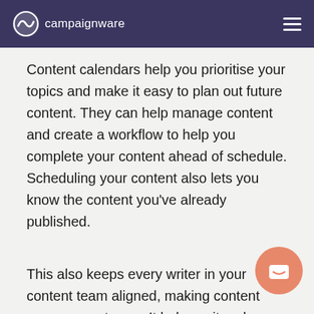campaignware
Content calendars help you prioritise your topics and make it easy to plan out future content. They can help manage content and create a workflow to help you complete your content ahead of schedule. Scheduling your content also lets you know the content you've already published.
This also keeps every writer in your content team aligned, making content management easy. It helps writers know deadlines, the current stage of the project, and what needs to be done next.
You can use a tool like Trello to create content calendar